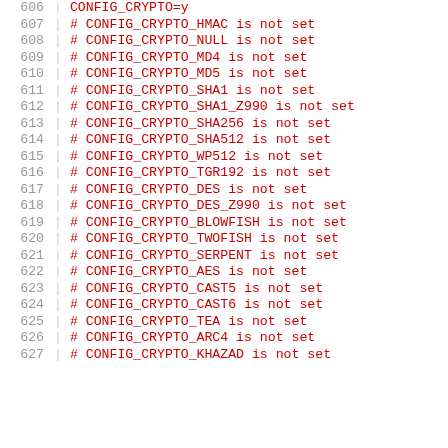606  CONFIG_CRYPTO=y
607  # CONFIG_CRYPTO_HMAC is not set
608  # CONFIG_CRYPTO_NULL is not set
609  # CONFIG_CRYPTO_MD4 is not set
610  # CONFIG_CRYPTO_MD5 is not set
611  # CONFIG_CRYPTO_SHA1 is not set
612  # CONFIG_CRYPTO_SHA1_Z990 is not set
613  # CONFIG_CRYPTO_SHA256 is not set
614  # CONFIG_CRYPTO_SHA512 is not set
615  # CONFIG_CRYPTO_WP512 is not set
616  # CONFIG_CRYPTO_TGR192 is not set
617  # CONFIG_CRYPTO_DES is not set
618  # CONFIG_CRYPTO_DES_Z990 is not set
619  # CONFIG_CRYPTO_BLOWFISH is not set
620  # CONFIG_CRYPTO_TWOFISH is not set
621  # CONFIG_CRYPTO_SERPENT is not set
622  # CONFIG_CRYPTO_AES is not set
623  # CONFIG_CRYPTO_CAST5 is not set
624  # CONFIG_CRYPTO_CAST6 is not set
625  # CONFIG_CRYPTO_TEA is not set
626  # CONFIG_CRYPTO_ARC4 is not set
627  # CONFIG_CRYPTO_KHAZAD is not set